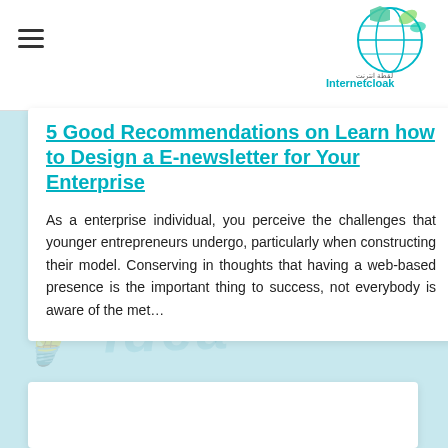Internetcloak logo header
5 Good Recommendations on Learn how to Design a E-newsletter for Your Enterprise
As a enterprise individual, you perceive the challenges that younger entrepreneurs undergo, particularly when constructing their model. Conserving in thoughts that having a web-based presence is the important thing to success, not everybody is aware of the met...